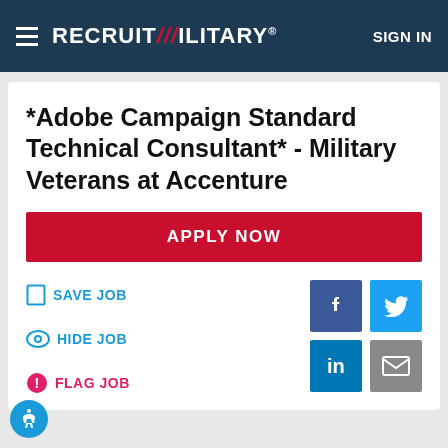RecruitMilitary - SIGN IN
*Adobe Campaign Standard Technical Consultant* - Military Veterans at Accenture
APPLY NOW
SAVE JOB
HIDE JOB
FLAG JOB
[Figure (screenshot): Social sharing buttons: Facebook, Twitter, LinkedIn, Email]